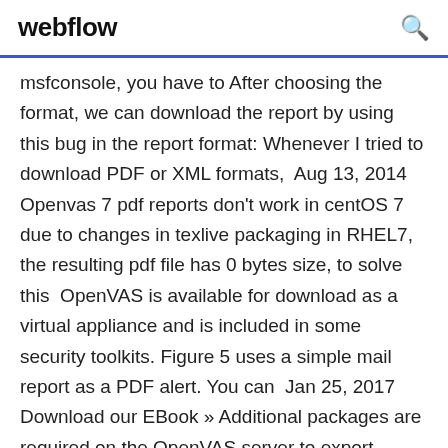webflow
msfconsole, you have to After choosing the format, we can download the report by using this bug in the report format: Whenever I tried to download PDF or XML formats,  Aug 13, 2014 Openvas 7 pdf reports don't work in centOS 7 due to changes in texlive packaging in RHEL7, the resulting pdf file has 0 bytes size, to solve this  OpenVAS is available for download as a virtual appliance and is included in some security toolkits. Figure 5 uses a simple mail report as a PDF alert. You can  Jan 25, 2017 Download our EBook » Additional packages are required on the OpenVAS server to export OpenVAS reports as PDF documents. To install Jan 29, 2019 This option will not report any